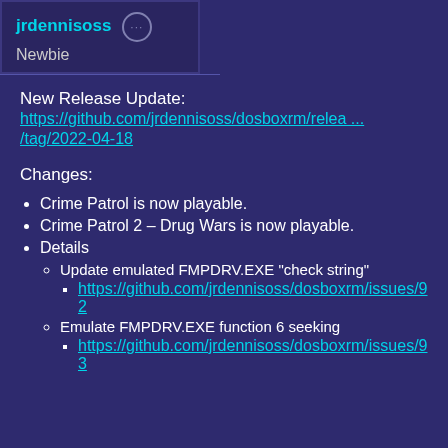jrdennisoss ··· Newbie
New Release Update:
https://github.com/jrdennisoss/dosboxrm/relea .../tag/2022-04-18
Changes:
Crime Patrol is now playable.
Crime Patrol 2 – Drug Wars is now playable.
Details
Update emulated FMPDRV.EXE "check string"
https://github.com/jrdennisoss/dosboxrm/issues/92
Emulate FMPDRV.EXE function 6 seeking
https://github.com/jrdennisoss/dosboxrm/issues/93